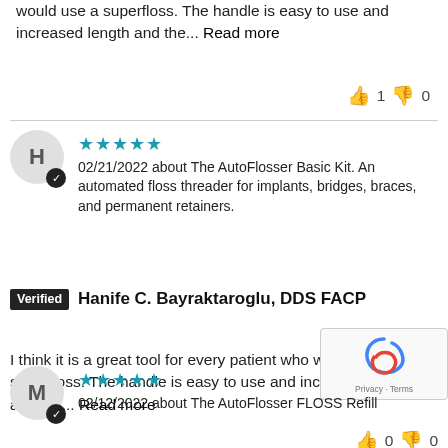would use a superfloss. The handle is easy to use and increased length and the... Read more
👍 1  👎 0
02/21/2022 about The AutoFlosser Basic Kit. An automated floss threader for implants, bridges, braces, and permanent retainers.
Verified Hanife C. Bayraktaroglu, DDS FACP
I think it is a great tool for every patient who would use a superfloss. The handle is easy to use and increased length and the... Read more
👍 0  👎 0
02/12/2022 about The AutoFlosser FLOSS Refill